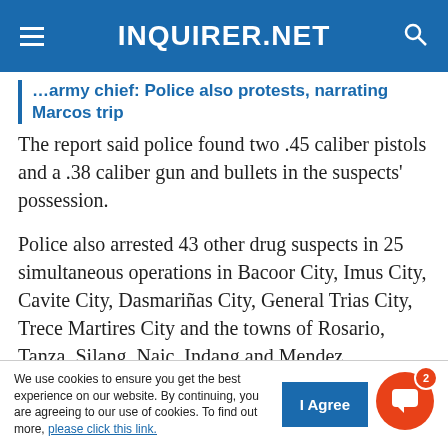INQUIRER.NET
…army chief: Police also protests, narrating Marcos trip
The report said police found two .45 caliber pistols and a .38 caliber gun and bullets in the suspects' possession.
Police also arrested 43 other drug suspects in 25 simultaneous operations in Bacoor City, Imus City, Cavite City, Dasmariñas City, General Trias City, Trece Martires City and the towns of Rosario, Tanza, Silang, Naic, Indang and Mendez.
We use cookies to ensure you get the best experience on our website. By continuing, you are agreeing to our use of cookies. To find out more, please click this link.